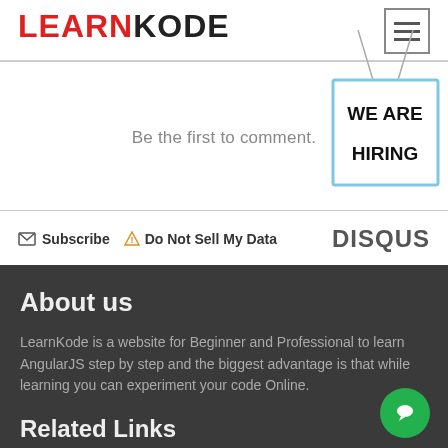LEARNKODE
[Figure (illustration): We Are Hiring sign illustration with string hanging from top]
Be the first to comment.
Subscribe  Do Not Sell My Data   DISQUS
About us
LearnKode is a website for Beginner and Professional to learn AngularJS step by step and the biggest advantage is that while learning you can experiment your code Online.
Related Links